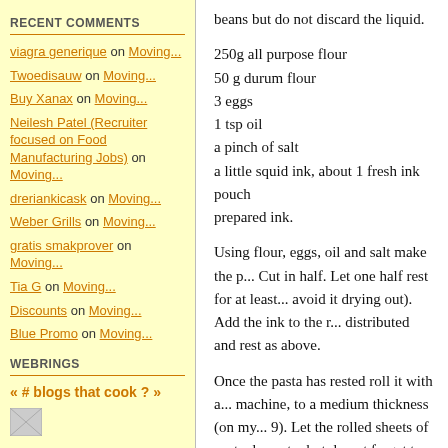RECENT COMMENTS
viagra generique on Moving...
Twoedisauw on Moving...
Buy Xanax on Moving...
Neilesh Patel (Recruiter focused on Food Manufacturing Jobs) on Moving...
dreriankicask on Moving...
Weber Grills on Moving...
gratis smakprover on Moving...
Tia G on Moving...
Discounts on Moving...
Blue Promo on Moving...
WEBRINGS
« # blogs that cook ? »
beans but do not discard the liquid.

250g all purpose flour
50 g durum flour
3 eggs
1 tsp oil
a pinch of salt
a little squid ink, about 1 fresh ink pouch or prepared ink.

Using flour, eggs, oil and salt make the p... Cut in half. Let one half rest for at least ... avoid it drying out). Add the ink to the r... distributed and rest as above.

Once the pasta has rested roll it with a ... machine, to a medium thickness (on my... 9). Let the rolled sheets of pasta dry out... but do not forget to save a little pasta fo... them to the dish. I made lozenge shape... fine.

1 medium onion
half a large carrot
half a large celery stick